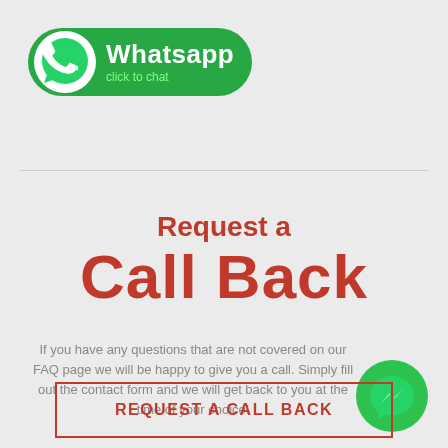[Figure (logo): WhatsApp click to chat button with green background, phone icon, bold white Whatsapp text and green subtitle 'click to chat']
Request a
Call Back
If you have any questions that are not covered on our FAQ page we will be happy to give you a call. Simply fill out the contact form and we will get back to you at the time of your choice!
[Figure (logo): Facebook Messenger icon — green circle with white lightning bolt]
REQUEST A CALL BACK